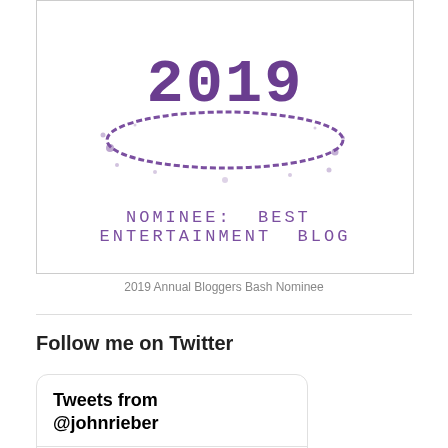[Figure (illustration): 2019 Annual Bloggers Bash badge showing '2019' in large purple typewriter font with ink splatter decoration, and text 'NOMINEE: BEST ENTERTAINMENT BLOG' below in purple spaced typewriter font]
2019 Annual Bloggers Bash Nominee
Follow me on Twitter
Tweets from @johnrieber
You Retweeted
John Rie... @jo... · 12h
Two Unique “Shots” Of The Big Apple! Moonshine And